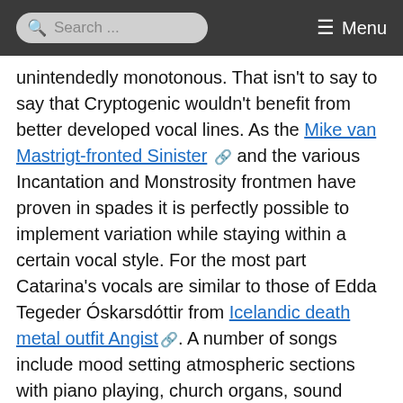Search ... Menu
unintendedly monotonous. That isn't to say to say that Cryptogenic wouldn't benefit from better developed vocal lines. As the Mike van Mastrigt-fronted Sinister [external link] and the various Incantation and Monstrosity frontmen have proven in spades it is perfectly possible to implement variation while staying within a certain vocal style. For the most part Catarina's vocals are similar to those of Edda Tegeder Óskarsdóttir from Icelandic death metal outfit Angist [external link]. A number of songs include mood setting atmospheric sections with piano playing, church organs, sound effects and the like. A multitude of emotive, carefully-phrased and beautifully laid out solos stand in stark contrast to